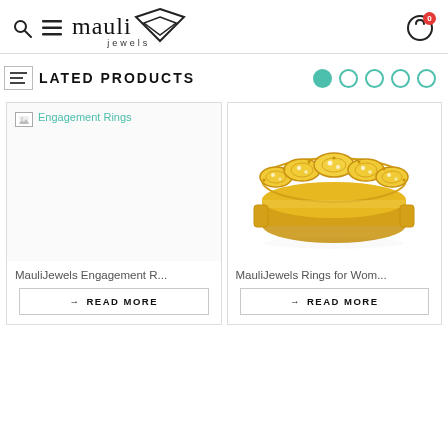mauli jewels
RELATED PRODUCTS
[Figure (photo): Broken image placeholder with alt text 'Engagement Rings']
MauliJewels Engagement R...
→ READ MORE
[Figure (photo): Gold diamond ring for women - ornate woven pattern band in yellow gold with small diamond accents]
MauliJewels Rings for Wom...
→ READ MORE